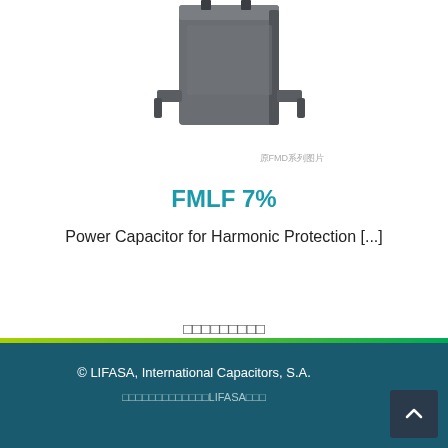[Figure (photo): Product photo of FMLF series power capacitor (grey box-shaped component with mounting brackets), with caption text '原FMD系列图片' in light grey]
FMLF 7%
Power Capacitor for Harmonic Protection [...]
□□□□□□□□□
© LIFASA, International Capacitors, S.A. □□□□□□□□□□□□□LIFASA□□□